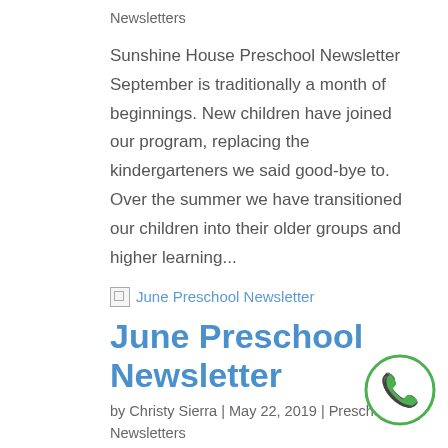Newsletters
Sunshine House Preschool Newsletter September is traditionally a month of beginnings. New children have joined our program, replacing the kindergarteners we said good-bye to. Over the summer we have transitioned our children into their older groups and higher learning...
[Figure (other): Broken image placeholder with link text 'June Preschool Newsletter']
June Preschool Newsletter
by Christy Sierra | May 22, 2019 | Preschool Newsletters
Weather Forecast: HOT Here we are beginning the first month of summer! The weather is getting hot and so are we...hot to polish off your child's learning, in preparation for next year. We will be
[Figure (illustration): Phone call icon — a green telephone handset inside a circle with green border]